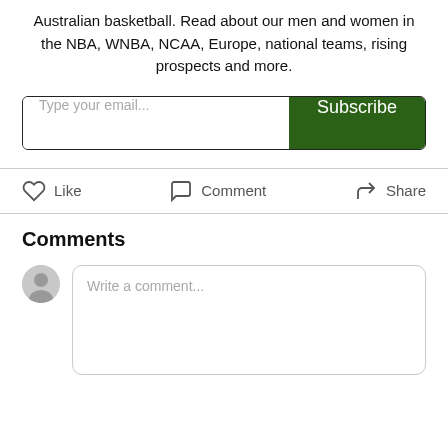Australian basketball. Read about our men and women in the NBA, WNBA, NCAA, Europe, national teams, rising prospects and more.
[Figure (other): Email subscription bar with text input 'Type your email...' and green 'Subscribe' button]
[Figure (other): Action bar with Like (heart icon), Comment (speech bubble icon), and Share (arrow icon) buttons]
Comments
[Figure (other): Comment input area with user avatar and text box saying 'Write a comment...']